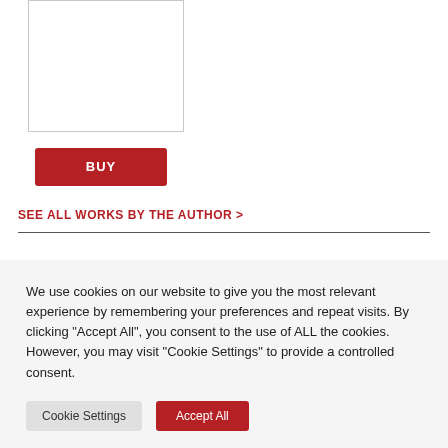[Figure (other): Book cover image placeholder — partial view with gray border]
BUY
SEE ALL WORKS BY THE AUTHOR >
We use cookies on our website to give you the most relevant experience by remembering your preferences and repeat visits. By clicking "Accept All", you consent to the use of ALL the cookies. However, you may visit "Cookie Settings" to provide a controlled consent.
Cookie Settings
Accept All